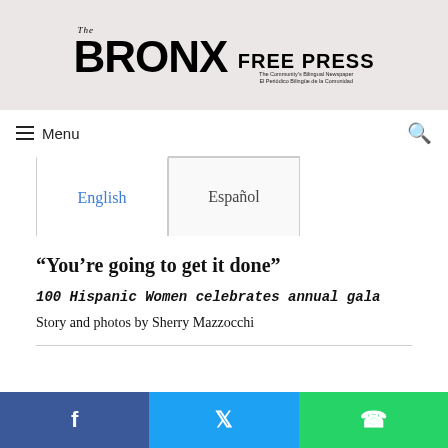The BRONX FREE PRESS — The Community's Bilingual Newspaper / El Periódico Bilingüe de la Comunidad
Menu
| English | Español |
| --- | --- |
“You’re going to get it done”
100 Hispanic Women celebrates annual gala
Story and photos by Sherry Mazzocchi
Facebook | Twitter | WhatsApp